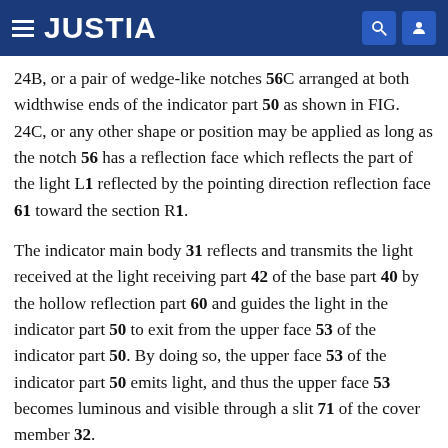JUSTIA
24B, or a pair of wedge-like notches 56C arranged at both widthwise ends of the indicator part 50 as shown in FIG. 24C, or any other shape or position may be applied as long as the notch 56 has a reflection face which reflects the part of the light L1 reflected by the pointing direction reflection face 61 toward the section R1.
The indicator main body 31 reflects and transmits the light received at the light receiving part 42 of the base part 40 by the hollow reflection part 60 and guides the light in the indicator part 50 to exit from the upper face 53 of the indicator part 50. By doing so, the upper face 53 of the indicator part 50 emits light, and thus the upper face 53 becomes luminous and visible through a slit 71 of the cover member 32.
As shown in FIG. 22, the cover member 32 includes an